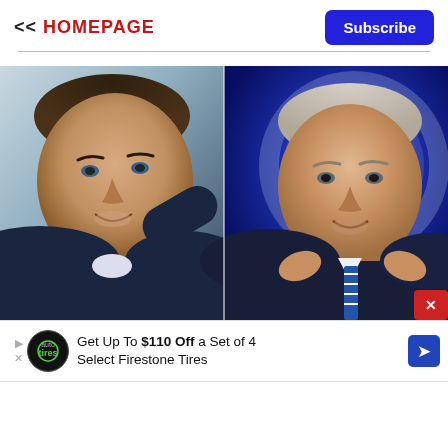<< HOMEPAGE
Subscribe
[Figure (photo): Side-by-side photos of two political figures: left shows a man in a dark suit speaking (Ron DeSantis), right shows an older man in a dark suit with blue striped tie against a blue background (Joe Biden)]
x
Get Up To $110 Off a Set of 4 Select Firestone Tires